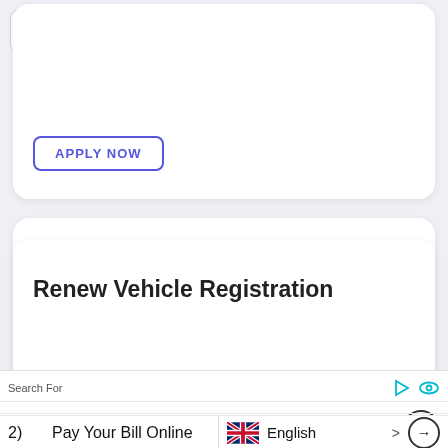[Figure (screenshot): Collapse/up arrow button in white rounded card]
[Figure (screenshot): APPLY NOW button with blue outline in white card (partially visible at top)]
Driver License Renewal
[Figure (screenshot): RENEW NOW button with blue outline]
Renew Vehicle Registration
[Figure (screenshot): RENEW NOW button with blue outline]
Search For
1)   Make Payments Online
2)   Pay Your Bill Online
English >